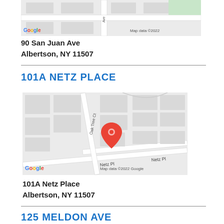[Figure (map): Google Maps screenshot showing 90 San Juan Ave area in Albertson NY, with map data copyright 2022 label and Google logo]
90 San Juan Ave
Albertson, NY 11507
101A NETZ PLACE
[Figure (map): Google Maps screenshot showing 101A Netz Place in Albertson NY with a red location pin on Oak Tree Ct near Netz Pl, with Google logo and Map data 2022 Google label]
101A Netz Place
Albertson, NY 11507
125 MELDON AVE